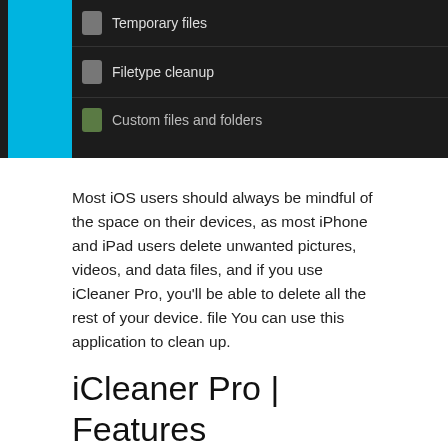[Figure (screenshot): iOS app settings screen showing Temporary files and Filetype cleanup toggles turned on (blue), and Custom files and folders toggle partially visible. Right side shows a blue panel.]
Most iOS users should always be mindful of the space on their devices, as most iPhone and iPad users delete unwanted pictures, videos, and data files, and if you use iCleaner Pro, you'll be able to delete all the rest of your device. file You can use this application to clean up.
iCleaner Pro | Features
iCleaner Pro is a very secure application. This will erase all the unimportant things in the following locations on your device.
Cache file.
Battery.
Log files.
Apps.
Message Attachments.
Safari Browser.